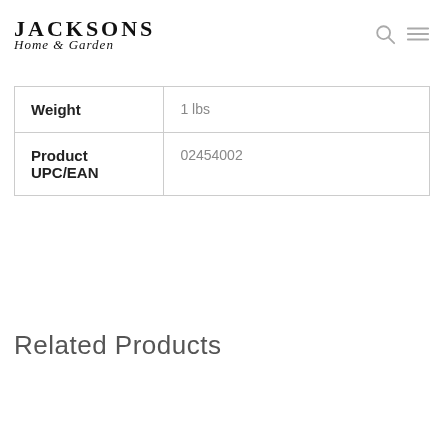JACKSONS Home & Garden
| Weight | 1 lbs |
| Product UPC/EAN | 02454002 |
Related Products